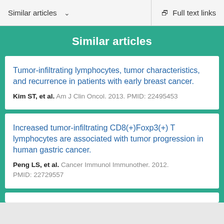Similar articles   Full text links
Similar articles
Tumor-infiltrating lymphocytes, tumor characteristics, and recurrence in patients with early breast cancer.
Kim ST, et al. Am J Clin Oncol. 2013. PMID: 22495453
Increased tumor-infiltrating CD8(+)Foxp3(+) T lymphocytes are associated with tumor progression in human gastric cancer.
Peng LS, et al. Cancer Immunol Immunother. 2012. PMID: 22729557